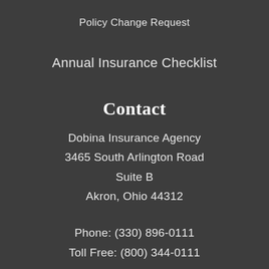Policy Change Request
Annual Insurance Checklist
Contact
Dobina Insurance Agency
3465 South Arlington Road
Suite B
Akron, Ohio 44312
Phone: (330) 896-0111
Toll Free: (800) 344-0111
Fax: (330) 896-4746